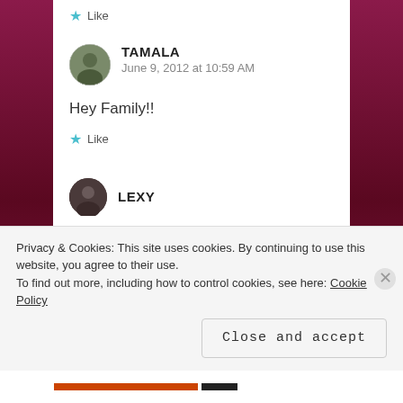Like
TAMALA
June 9, 2012 at 10:59 AM
Hey Family!!
Like
LEXY
Privacy & Cookies: This site uses cookies. By continuing to use this website, you agree to their use.
To find out more, including how to control cookies, see here: Cookie Policy
Close and accept